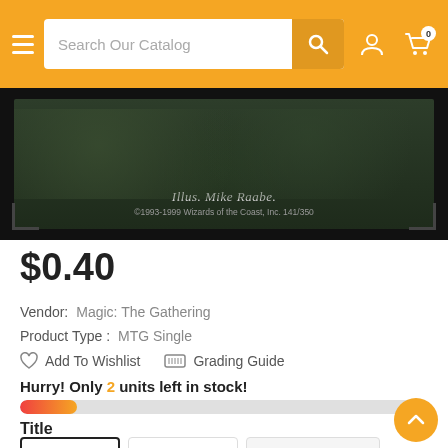Search Our Catalog
[Figure (photo): Bottom portion of a Magic: The Gathering card showing illustration credit 'Illus. Mike Raabe' and copyright '©1993-1999 Wizards of the Coast, Inc. 141/350']
$0.40
Vendor:   Magic: The Gathering
Product Type :   MTG Single
Add To Wishlist    Grading Guide
Hurry! Only 2 units left in stock!
Title
Near Mint    Lightly Played    Moderately Played